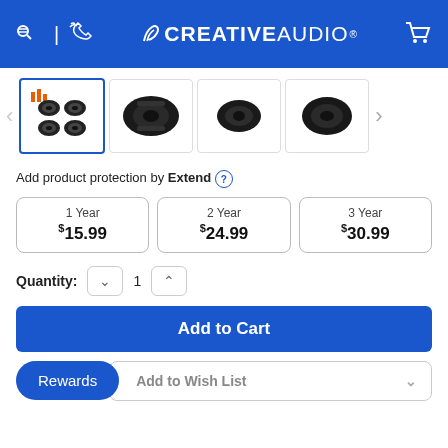CREATIVEAUDIO
[Figure (photo): Product image gallery showing car speakers (4 thumbnail images of black oval speakers)]
Add product protection by Extend
| 1 Year | 2 Year | 3 Year |
| --- | --- | --- |
| $15.99 | $24.99 | $30.99 |
Quantity: 1
Add to Cart
Rewards
Add to Wish List